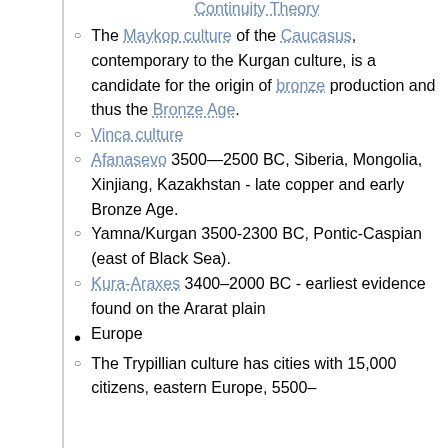Continuity Theory
The Maykop culture of the Caucasus, contemporary to the Kurgan culture, is a candidate for the origin of bronze production and thus the Bronze Age.
Vinca culture
Afanasevo 3500—2500 BC, Siberia, Mongolia, Xinjiang, Kazakhstan - late copper and early Bronze Age.
Yamna/Kurgan 3500-2300 BC, Pontic-Caspian (east of Black Sea).
Kura-Araxes 3400–2000 BC - earliest evidence found on the Ararat plain
Europe
The Trypillian culture has cities with 15,000 citizens, eastern Europe, 5500–